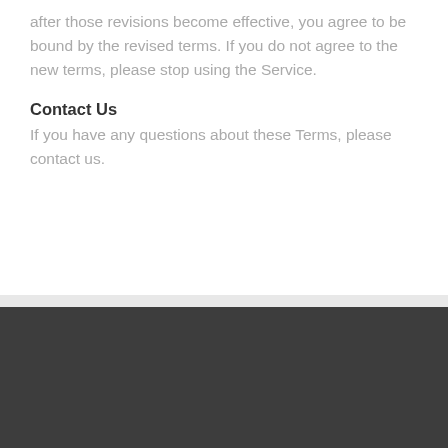after those revisions become effective, you agree to be bound by the revised terms. If you do not agree to the new terms, please stop using the Service.
Contact Us
If you have any questions about these Terms, please contact us.